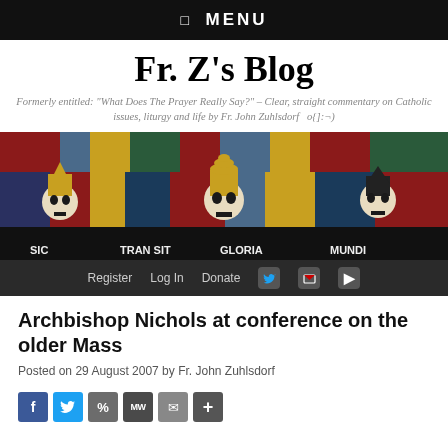☰  MENU
Fr. Z's Blog
Formerly entitled: "What Does The Prayer Really Say?" – Clear, straight commentary on Catholic issues, liturgy and life by Fr. John Zuhlsdorf   o{]:¬)
[Figure (photo): Stained glass image showing skeletal figures with papal/bishop miters, with text reading SIC TRANSIT GLORIA MUNDI]
Register   Log In   Donate
Archbishop Nichols at conference on the older Mass
Posted on 29 August 2007 by Fr. John Zuhlsdorf
[Figure (infographic): Social share icons: Facebook, Twitter, share link, MW, mail, plus]